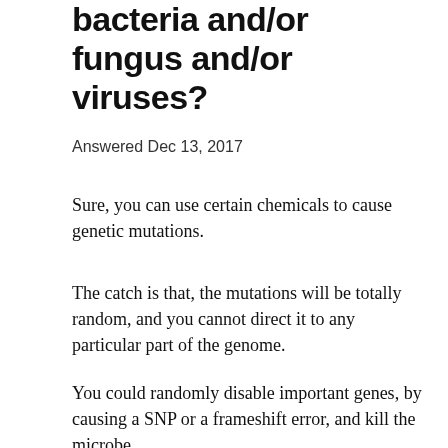bacteria and/or fungus and/or viruses?
Answered Dec 13, 2017
Sure, you can use certain chemicals to cause genetic mutations.
The catch is that, the mutations will be totally random, and you cannot direct it to any particular part of the genome.
You could randomly disable important genes, by causing a SNP or a frameshift error, and kill the microbe.